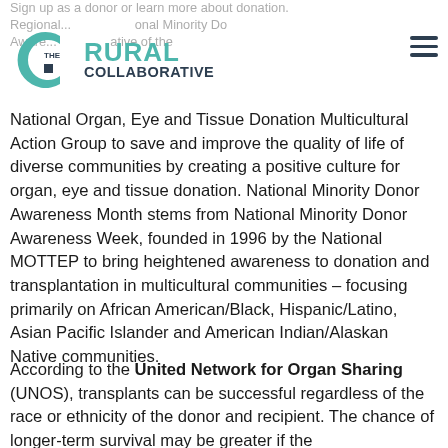Sign up as a donor or learn more about donation. | Regional ... National Minority Donor Awareness ... representative of the
[Figure (logo): The Rural Collaborative logo - a teal 'C' shape with a dark blue square accent, and text 'THE RURAL COLLABORATIVE' in teal and dark blue]
National Organ, Eye and Tissue Donation Multicultural Action Group to save and improve the quality of life of diverse communities by creating a positive culture for organ, eye and tissue donation. National Minority Donor Awareness Month stems from National Minority Donor Awareness Week, founded in 1996 by the National MOTTEP to bring heightened awareness to donation and transplantation in multicultural communities – focusing primarily on African American/Black, Hispanic/Latino, Asian Pacific Islander and American Indian/Alaskan Native communities.
According to the United Network for Organ Sharing (UNOS), transplants can be successful regardless of the race or ethnicity of the donor and recipient. The chance of longer-term survival may be greater if the